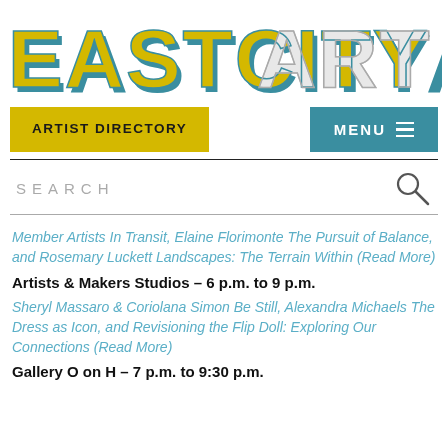[Figure (logo): EastCityArt logo in large blocky letters, yellow and teal/blue colors with white outlines]
ARTIST DIRECTORY | MENU
SEARCH
Member Artists In Transit, Elaine Florimonte The Pursuit of Balance, and Rosemary Luckett Landscapes: The Terrain Within (Read More)
Artists & Makers Studios – 6 p.m. to 9 p.m.
Sheryl Massaro & Coriolana Simon Be Still, Alexandra Michaels The Dress as Icon, and Revisioning the Flip Doll: Exploring Our Connections (Read More)
Gallery O on H – 7 p.m. to 9:30 p.m.